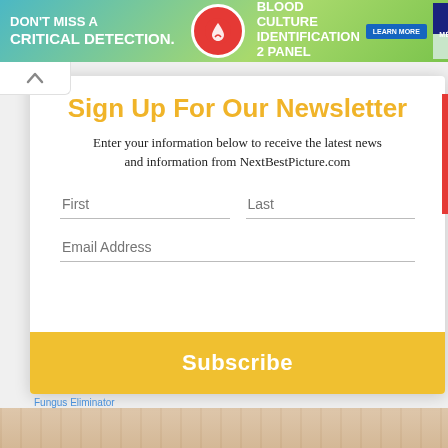[Figure (illustration): Advertisement banner: DON'T MISS A CRITICAL DETECTION. BIOFIRE BLOOD CULTURE IDENTIFICATION 2 PANEL. LEARN MORE. bioMérieux logo.]
Sign Up For Our Newsletter
Enter your information below to receive the latest news and information from NextBestPicture.com
First | Last | Email Address | Subscribe button